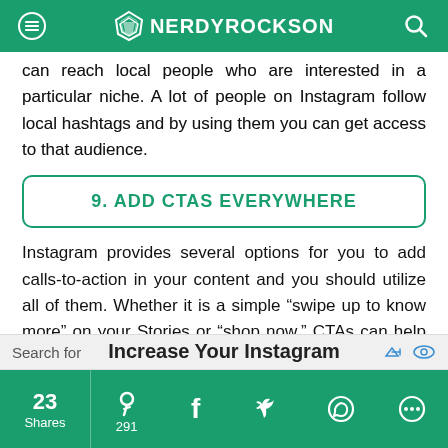NERDYROCKSON
can reach local people who are interested in a particular niche. A lot of people on Instagram follow local hashtags and by using them you can get access to that audience.
9. ADD CTAS EVERYWHERE
Instagram provides several options for you to add calls-to-action in your content and you should utilize all of them. Whether it is a simple “swipe up to know more” on your Stories or “shop now,” CTAs can help you get your audience to take the desired action.
If nothing else, you can add a CTA to your captions, by
Increase Your Instagram
23 Shares | 291